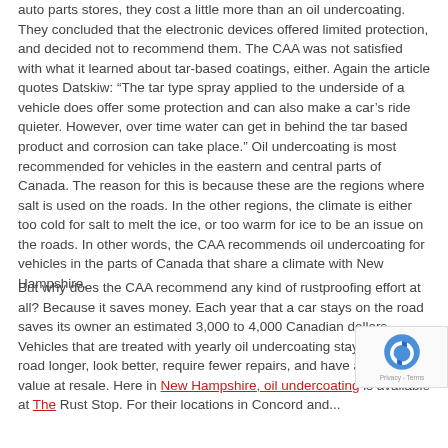auto parts stores, they cost a little more than an oil undercoating. They concluded that the electronic devices offered limited protection, and decided not to recommend them. The CAA was not satisfied with what it learned about tar-based coatings, either. Again the article quotes Datskiw: “The tar type spray applied to the underside of a vehicle does offer some protection and can also make a car’s ride quieter. However, over time water can get in behind the tar based product and corrosion can take place.” Oil undercoating is most recommended for vehicles in the eastern and central parts of Canada. The reason for this is because these are the regions where salt is used on the roads. In the other regions, the climate is either too cold for salt to melt the ice, or too warm for ice to be an issue on the roads. In other words, the CAA recommends oil undercoating for vehicles in the parts of Canada that share a climate with New Hampshire.
But why does the CAA recommend any kind of rustproofing effort at all? Because it saves money. Each year that a car stays on the road saves its owner an estimated 3,000 to 4,000 Canadian dollars. Vehicles that are treated with yearly oil undercoating stay on the road longer, look better, require fewer repairs, and have a higher value at resale. Here in New Hampshire, oil undercoating is available at The Rust Stop. For their locations in Concord and...